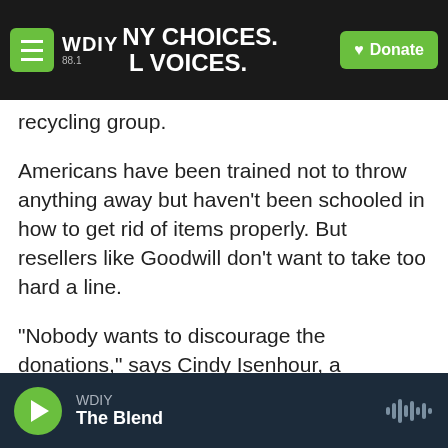WDIY 88.1 — MANY CHOICES. LOCAL VOICES. | Donate
recycling group.
Americans have been trained not to throw anything away but haven't been schooled in how to get rid of items properly. But resellers like Goodwill don't want to take too hard a line.
"Nobody wants to discourage the donations," says Cindy Isenhour, a professor in the Climate Change Institute at the University of Maine, where she studies the reuse economy. "So I think everybody feels like they are walking a very fine line here."
And so, Goodwill is doing a bit of a media tour.
WDIY — The Blend